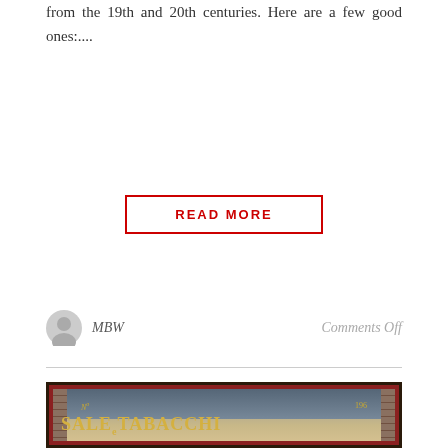from the 19th and 20th centuries. Here are a few good ones:....
READ MORE
MBW
Comments Off
[Figure (photo): A vintage Italian shop sign reading 'SALE e TABACCHI' with 'No 196' at the top, ornate gold lettering on a decorative glass-and-metal framed sign mounted on a stone wall.]